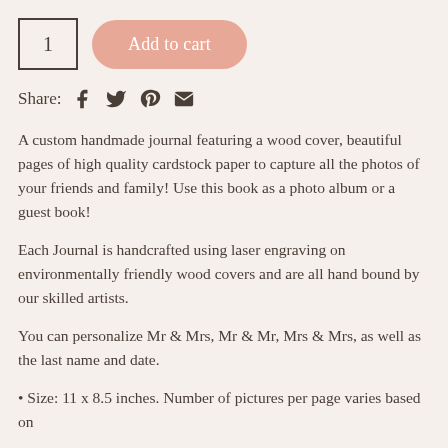1
Add to cart
Share:
A custom handmade journal featuring a wood cover, beautiful pages of high quality cardstock paper to capture all the photos of your friends and family! Use this book as a photo album or a guest book!
Each Journal is handcrafted using laser engraving on environmentally friendly wood covers and are all hand bound by our skilled artists.
You can personalize Mr & Mrs, Mr & Mr, Mrs & Mrs, as well as the last name and date.
• Size: 11 x 8.5 inches. Number of pictures per page varies based on